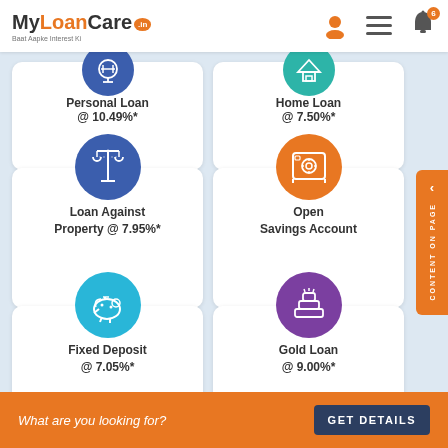MyLoanCare.in – Baat Aapke Interest Ki
[Figure (infographic): Personal Loan card with blue circle icon showing balance scale, text: Personal Loan @ 10.49%*]
[Figure (infographic): Home Loan card with teal circle icon, text: Home Loan @ 7.50%*]
[Figure (infographic): Loan Against Property card with dark blue circle icon showing balance scale, text: Loan Against Property @ 7.95%*]
[Figure (infographic): Open Savings Account card with orange circle icon showing safe/vault, text: Open Savings Account]
[Figure (infographic): Fixed Deposit card with cyan circle icon showing piggy bank, text: Fixed Deposit @ 7.05%*]
[Figure (infographic): Gold Loan card with purple circle icon showing gold bars, text: Gold Loan @ 9.00%*]
What are you looking for?
GET DETAILS